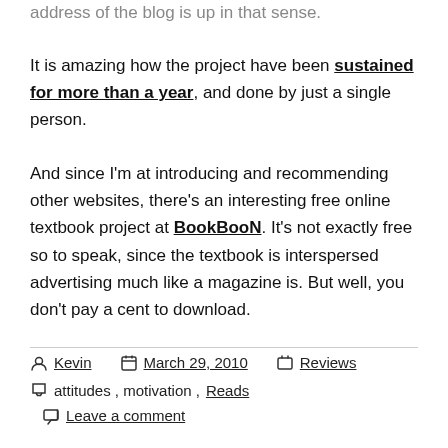address of the blog is up in that sense.
It is amazing how the project have been sustained for more than a year, and done by just a single person.
And since I'm at introducing and recommending other websites, there's an interesting free online textbook project at BookBooN. It's not exactly free so to speak, since the textbook is interspersed advertising much like a magazine is. But well, you don't pay a cent to download.
Kevin  March 29, 2010  Reviews  attitudes, motivation, Reads  Leave a comment